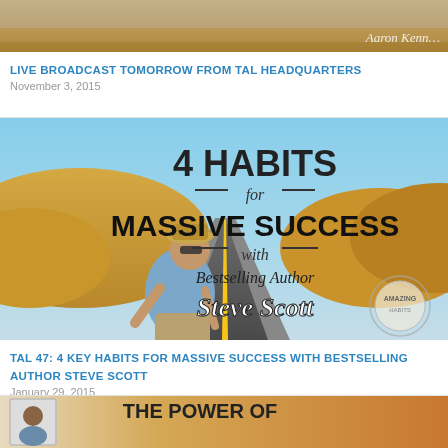[Figure (photo): Partial top image strip showing a tan/golden background with text 'Aaron Kenn...' visible at right]
LIVE BROADCAST TOMORROW FROM TAL HEADQUARTERS
November 3, 2015
[Figure (photo): Podcast cover image: man crouching on road wearing hat and sunglasses, text reads '4 HABITS for MASSIVE SUCCESS with Bestselling Author Steve Scott' with 'AMAZING' stamp logo]
TAL 47: 4 KEY HABITS FOR MASSIVE SUCCESS WITH BESTSELLING AUTHOR STEVE SCOTT
January 29, 2015
[Figure (photo): Partial bottom image showing a person's photo on left and text 'THE POWER OF...' on right with orange/sunset background]